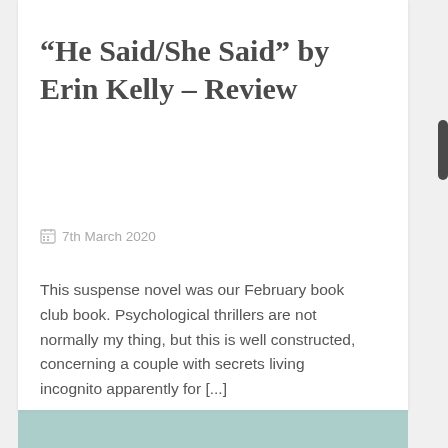“He Said/She Said” by Erin Kelly – Review
7th March 2020
This suspense novel was our February book club book. Psychological thrillers are not normally my thing, but this is well constructed, concerning a couple with secrets living incognito apparently for [...]